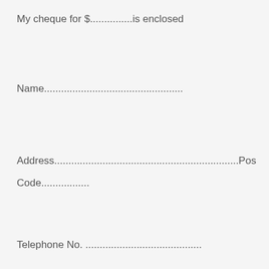My cheque for $...............is enclosed
Name.................................................
Address.................................................................Pos Code.................
Telephone No. .........................................